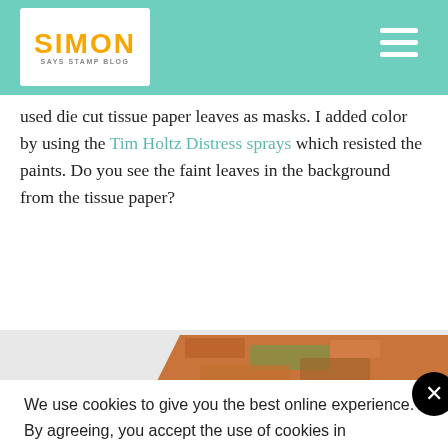Simon Says Stamp Blog
used die cut tissue paper leaves as masks. I added color by using the Tim Holtz Distress sprays which resisted the paints. Do you see the faint leaves in the background from the tissue paper?
[Figure (photo): Close-up of mixed media artwork with orange, rust, and green textured surface forming a diamond/hexagon shape]
We use cookies to give you the best online experience. By agreeing, you accept the use of cookies in accordance with our cookie policy.
DECLINE   I ACCEPT
Privacy Policy   Cookie Policy
[Figure (photo): Bottom strip showing colorful green and orange mixed media artwork]